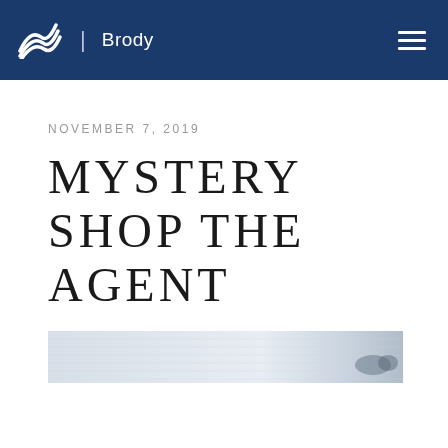Brody
NOVEMBER 7, 2019
MYSTERY SHOP THE AGENT
[Figure (photo): A blurred/faded horizontal banner image, light grey and white tones, with a faint dark object visible on the right side — appears to be a car or vehicle partially visible.]